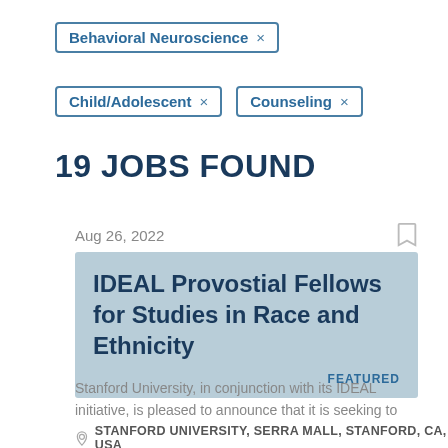Behavioral Neuroscience ×
Child/Adolescent ×
Counseling ×
19 JOBS FOUND
Aug 26, 2022
IDEAL Provostial Fellows for Studies in Race and Ethnicity
FEATURED
Stanford University, in conjunction with its IDEAL initiative, is pleased to announce that it is seeking to
STANFORD UNIVERSITY, SERRA MALL, STANFORD, CA, USA
FULL TIME